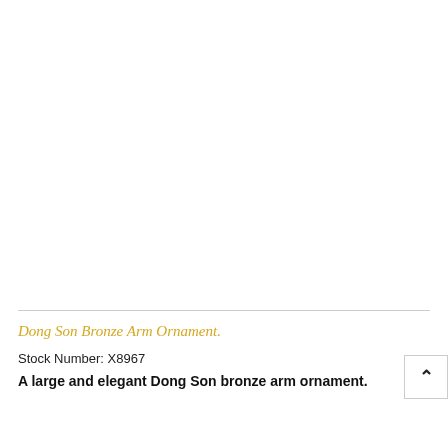[Figure (photo): White/blank image area where product photo would appear — no visible image content in this crop.]
Dong Son Bronze Arm Ornament.
Stock Number: X8967
A large and elegant Dong Son bronze arm ornament.